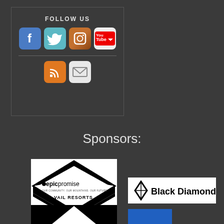[Figure (infographic): Follow Us social media widget with icons for Facebook, Twitter, Instagram, YouTube, RSS, and Email]
Sponsors:
[Figure (logo): Epic Promise Vail Resorts logo - black and white diamond/mountain shaped badge]
[Figure (logo): Black Diamond logo on white background]
[Figure (logo): Partial logo below Epic Promise (black background with white arrow/shape)]
[Figure (logo): Partial blue logo below Black Diamond]